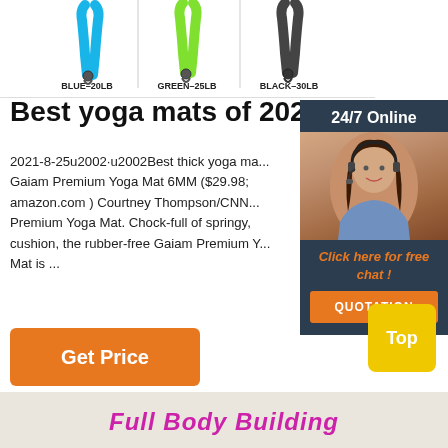[Figure (photo): Product image showing three resistance bands: blue (20LB), green (25LB), and black (30LB) with carabiner clips, labeled with their respective weights at the bottom]
Best yoga mats of 2021
2021-8-25u2002·u2002Best thick yoga ma... Gaiam Premium Yoga Mat 6MM ($29.98; amazon.com ) Courtney Thompson/CNN... Premium Yoga Mat. Chock-full of springy, cushion, the rubber-free Gaiam Premium Y... Mat is ...
[Figure (photo): Chat widget showing a woman with headset, dark blue background, text '24/7 Online', 'Click here for free chat!' in orange italic, and an orange QUOTATION button]
Get Price
[Figure (other): Yellow 'Top' button for scrolling to top of page]
[Figure (photo): Bottom banner image strip with text 'Full Body Building' in pink/magenta bold italic font]